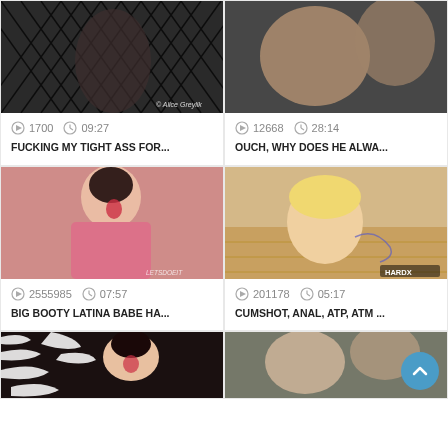[Figure (photo): Thumbnail image of video 1 - person in fishnets, watermark 'Alice Greylik']
1700  09:27
FUCKING MY TIGHT ASS FOR...
[Figure (photo): Thumbnail image of video 2 - explicit adult content]
12668  28:14
OUCH, WHY DOES HE ALWA...
[Figure (photo): Thumbnail image of video 3 - dark haired woman, watermark 'LETSDOEIT']
2555985  07:57
BIG BOOTY LATINA BABE HA...
[Figure (photo): Thumbnail image of video 4 - blonde tattooed woman, watermark 'HARDX']
201178  05:17
CUMSHOT, ANAL, ATP, ATM ...
[Figure (photo): Thumbnail image of video 5 - dark haired woman on zebra print]
[Figure (photo): Thumbnail image of video 6 - explicit adult content with scroll-to-top button]